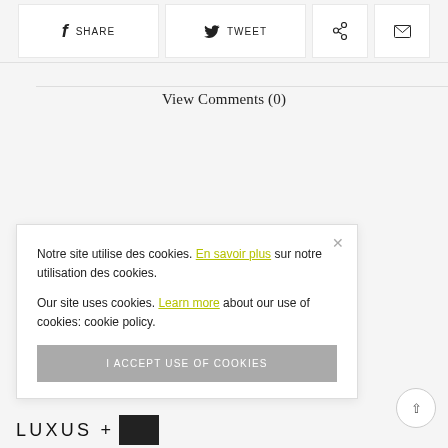[Figure (infographic): Social share bar with SHARE (Facebook), TWEET (Twitter), Pinterest icon, and email icon buttons]
View Comments (0)
Notre site utilise des cookies. En savoir plus sur notre utilisation des cookies.

Our site uses cookies. Learn more about our use of cookies: cookie policy.
I ACCEPT USE OF COOKIES